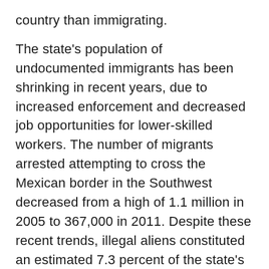country than immigrating.
The state's population of undocumented immigrants has been shrinking in recent years, due to increased enforcement and decreased job opportunities for lower-skilled workers. The number of migrants arrested attempting to cross the Mexican border in the Southwest decreased from a high of 1.1 million in 2005 to 367,000 in 2011. Despite these recent trends, illegal aliens constituted an estimated 7.3 percent of the state's population, the third highest percentage of any state in the country,[note 2] totaling nearly 2.6 million. In particular, illegal immigrants tended to be concentrated in Los Angeles, Monterey, San Benito, Imperial